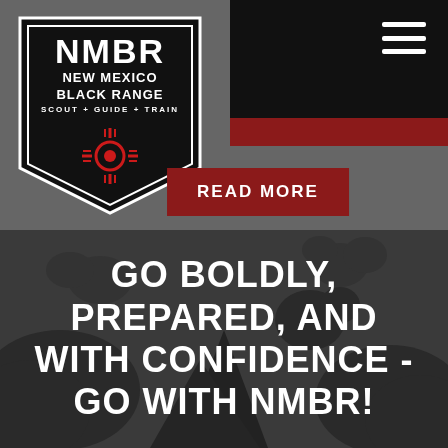[Figure (logo): NMBR New Mexico Black Range Scout + Guide + Train shield badge logo in black and white with a Zia sun symbol]
READ MORE
GO BOLDLY, PREPARED, AND WITH CONFIDENCE - GO WITH NMBR!